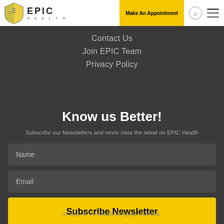[Figure (logo): EPIC Health logo with shield icon and text]
Make An Appointment
Contact Us
Join EPIC Team
Privacy Policy
Know us Better!
Subscribe our Newsletters and never miss the latest on EPIC Health
Name
Email
Subscribe Newsletter
© 2022 EPIC Health. All rights reserved.